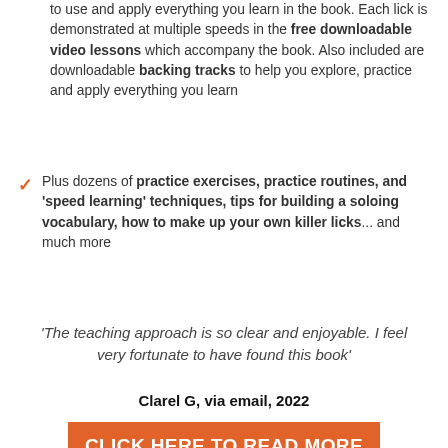to use and apply everything you learn in the book. Each lick is demonstrated at multiple speeds in the free downloadable video lessons which accompany the book. Also included are downloadable backing tracks to help you explore, practice and apply everything you learn
Plus dozens of practice exercises, practice routines, and 'speed learning' techniques, tips for building a soloing vocabulary, how to make up your own killer licks... and much more
'The teaching approach is so clear and enjoyable. I feel very fortunate to have found this book'
Clarel G, via email, 2022
CLICK HERE TO READ MORE ABOUT THIS BOOK